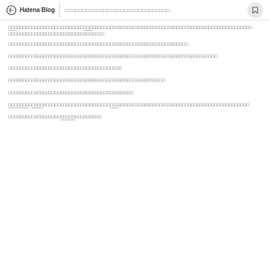Hatena Blog | [Japanese text]
[Japanese text paragraph 1 line 1]
[Japanese text paragraph 1 line 2]
[Japanese text paragraph 2]
[Japanese text paragraph 3]
[Japanese text paragraph 4]
[Japanese text paragraph 5]
[Japanese text paragraph 6]
[Japanese text paragraph 7]